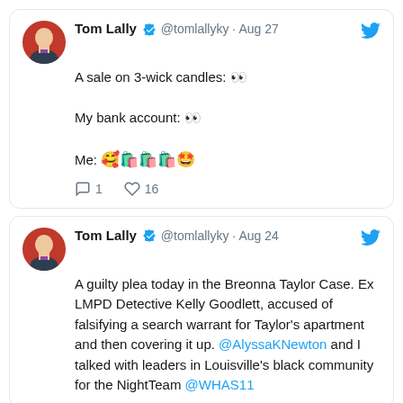[Figure (screenshot): Screenshot of two tweets by Tom Lally (@tomlallyky). First tweet from Aug 27: 'A sale on 3-wick candles: •• My bank account: •• Me: 🥰🛍️🛍️🛍️🤩' with 1 reply and 16 likes. Second tweet from Aug 24 about a guilty plea in the Breonna Taylor case mentioning @AlyssaKNewton and NightTeam @WHAS11.]